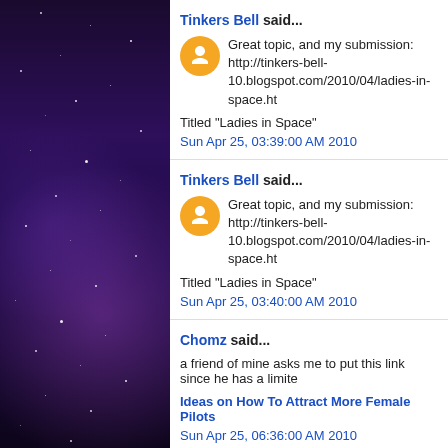Tinkers Bell said... Great topic, and my submission: http://tinkers-bell-10.blogspot.com/2010/04/ladies-in-space.ht
Titled "Ladies in Space"
Sun Apr 25, 03:39:00 AM 2010
Tinkers Bell said... Great topic, and my submission: http://tinkers-bell-10.blogspot.com/2010/04/ladies-in-space.ht
Titled "Ladies in Space"
Sun Apr 25, 03:40:00 AM 2010
Chomz said... a friend of mine asks me to put this link since he has a limite
Ideas on How To Attract More Female Pilots
Sun Apr 25, 06:36:00 AM 2010
Unknown said...